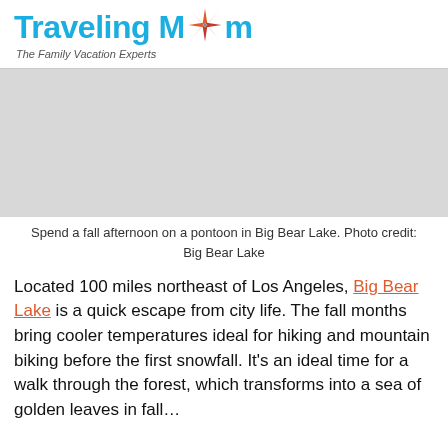TravelingMom — The Family Vacation Experts
[Figure (photo): Photo of a pontoon on Big Bear Lake during fall]
Spend a fall afternoon on a pontoon in Big Bear Lake. Photo credit: Big Bear Lake
Located 100 miles northeast of Los Angeles, Big Bear Lake is a quick escape from city life. The fall months bring cooler temperatures ideal for hiking and mountain biking before the first snowfall. It's an ideal time for a walk through the forest, which transforms into...